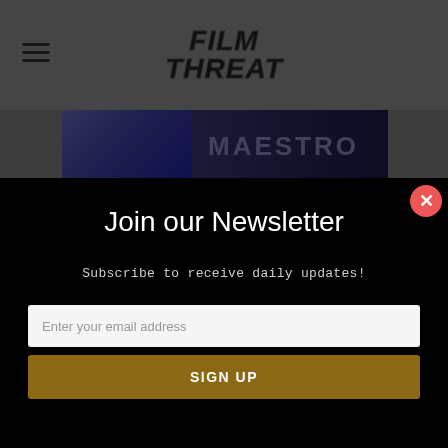Film Threat
[Figure (screenshot): Maestro movie banner with purple background and text MAESTRO]
Join our Newsletter
Subscribe to receive daily updates!
Enter your email address
SIGN UP
Submit Your Film to Film Threat
In-depth movie review, featured posts, and advertisements.